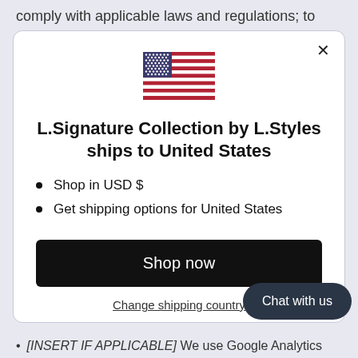comply with applicable laws and regulations; to respond to a subpoena, search warrant or other
[Figure (illustration): US flag SVG illustration]
L.Signature Collection by L.Styles ships to United States
Shop in USD $
Get shipping options for United States
Shop now
Change shipping country
Chat with us
[INSERT IF APPLICABLE] We use Google Analytics